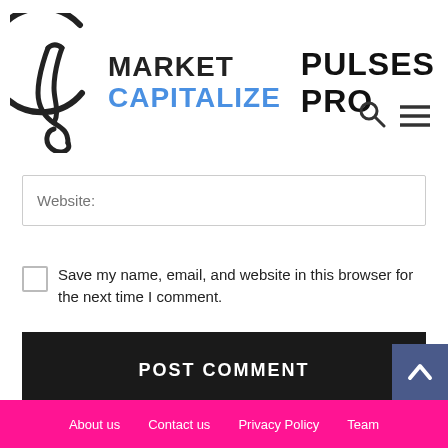[Figure (logo): Market Capitalize logo with stylized M graphic and text 'MARKET CAPITALIZE' beside it, and 'PULSES PRO' text to the right]
Website:
Save my name, email, and website in this browser for the next time I comment.
POST COMMENT
About us   Contact us   Privacy Policy   Team